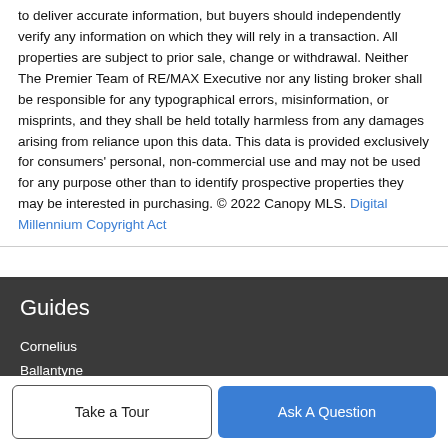to deliver accurate information, but buyers should independently verify any information on which they will rely in a transaction. All properties are subject to prior sale, change or withdrawal. Neither The Premier Team of RE/MAX Executive nor any listing broker shall be responsible for any typographical errors, misinformation, or misprints, and they shall be held totally harmless from any damages arising from reliance upon this data. This data is provided exclusively for consumers' personal, non-commercial use and may not be used for any purpose other than to identify prospective properties they may be interested in purchasing. © 2022 Canopy MLS. Digital Millennium Copyright Act
Guides
Cornelius
Ballantyne
Cabarrus County
Charlotte